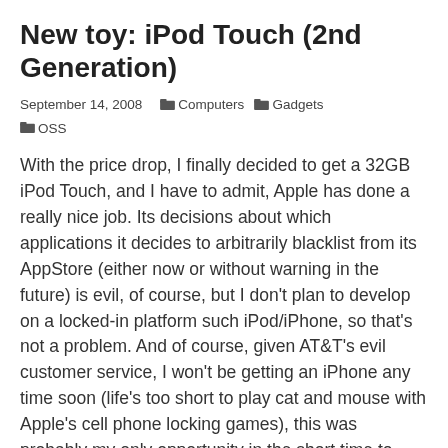New toy: iPod Touch (2nd Generation)
September 14, 2008   📁 Computers   📁 Gadgets   📁 OSS
With the price drop, I finally decided to get a 32GB iPod Touch, and I have to admit, Apple has done a really nice job. Its decisions about which applications it decides to arbitrarily blacklist from its AppStore (either now or without warning in the future) is evil, of course, but I don't plan to develop on a locked-in platform such iPod/iPhone, so that's not a problem. And of course, given AT&T's evil customer service, I won't be getting an iPhone any time soon (life's too short to play cat and mouse with Apple's cell phone locking games), this was probably my only opportunity in the short time to play with the iPhone/iPod touch's e-mail application.